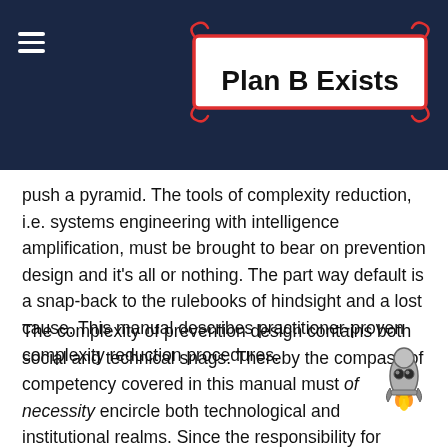Plan B Exists
push a pyramid. The tools of complexity reduction, i.e. systems engineering with intelligence amplification, must be brought to bear on prevention design and it's all or nothing. The part way default is a snap-back to the rulebooks of hindsight and a lost cause. This manual describes practitioner-proven complexity reduction procedures.
The complexity of prevention design contains both social and technical snags. Thereby the compass of competency covered in this manual must of necessity encircle both technological and institutional realms. Since the responsibility for effective prevention system design (ends) cannot be subdivided, the practitioner must exercise skills effec with both domains. His facility for leveraging natural l ll serves him in confronting the motley array of challenges